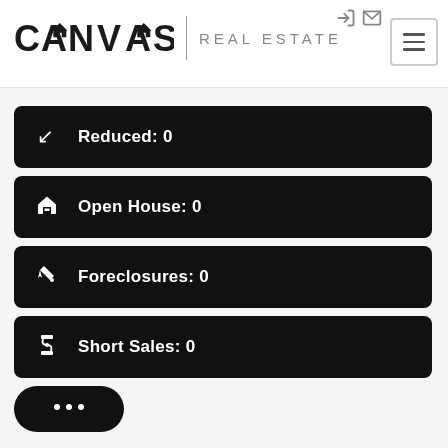[Figure (logo): Canvas Real Estate logo with house icon in the letter A, vertical divider, and 'REAL ESTATE' text in grey]
Reduced: 0
Open House: 0
Foreclosures: 0
Short Sales: 0